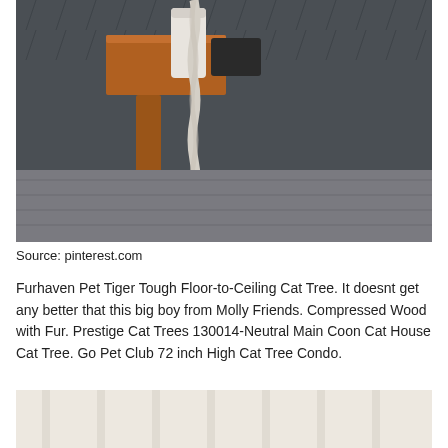[Figure (photo): A floor-to-ceiling cat tree rope post attached to a wooden shelf bracket against a dark textured wall, with rope fraying at the bottom on a gray wood floor.]
Source: pinterest.com
Furhaven Pet Tiger Tough Floor-to-Ceiling Cat Tree. It doesnt get any better that this big boy from Molly Friends. Compressed Wood with Fur. Prestige Cat Trees 130014-Neutral Main Coon Cat House Cat Tree. Go Pet Club 72 inch High Cat Tree Condo.
[Figure (photo): Bottom portion of a light beige/cream colored curtain or fabric panel.]